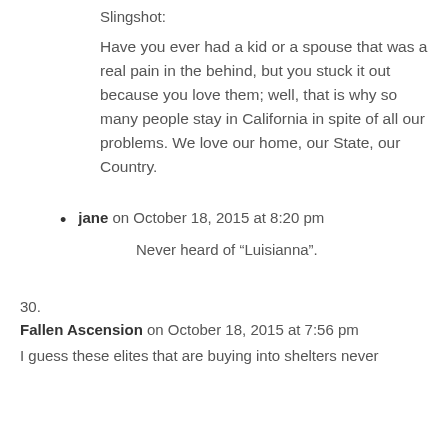Slingshot:
Have you ever had a kid or a spouse that was a real pain in the behind, but you stuck it out because you love them; well, that is why so many people stay in California in spite of all our problems. We love our home, our State, our Country.
jane on October 18, 2015 at 8:20 pm
Never heard of “Luisianna”.
30.
Fallen Ascension on October 18, 2015 at 7:56 pm
I guess these elites that are buying into shelters never